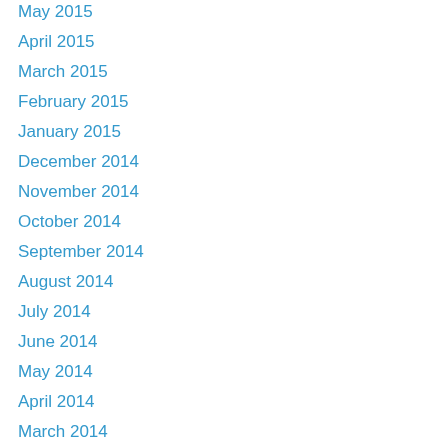May 2015
April 2015
March 2015
February 2015
January 2015
December 2014
November 2014
October 2014
September 2014
August 2014
July 2014
June 2014
May 2014
April 2014
March 2014
Categories
Abortion
Administrative State